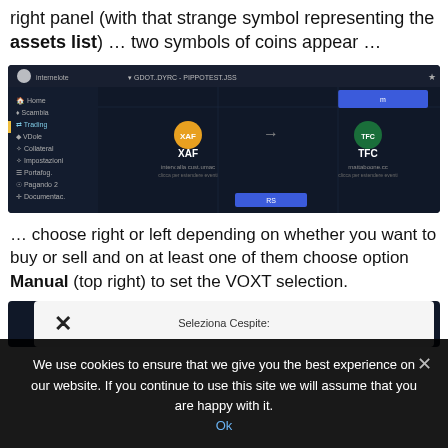right panel (with that strange symbol representing the assets list) … two symbols of coins appear …
[Figure (screenshot): Screenshot of a dark-themed trading interface showing XAF and TFC coins with a swap/exchange UI. Left sidebar shows navigation menu items. Center shows XAF token with yellow icon and TFC token with green icon, with an arrow between them and a blue button at bottom. Top bar shows 'GDOT.DYRC - PIPPOTEST.JSS'.]
… choose right or left depending on whether you want to buy or sell and on at least one of them choose option Manual (top right) to set the VOXT selection.
[Figure (screenshot): Partial screenshot showing a dark-themed dialog with X close button and title 'Seleziona Cespite:' (Select Asset).]
We use cookies to ensure that we give you the best experience on our website. If you continue to use this site we will assume that you are happy with it.